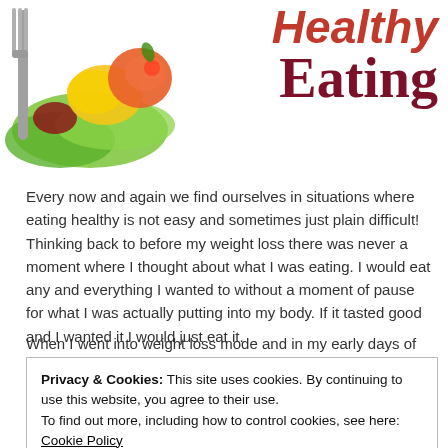[Figure (illustration): Fork with colorful salad vegetables (lettuce, tomatoes, peppers) on left side of header]
Healthy Eating
Every now and again we find ourselves in situations where eating healthy is not easy and sometimes just plain difficult! Thinking back to before my weight loss there was never a moment where I thought about what I was eating. I would eat any and everything I wanted to without a moment of pause for what I was actually putting into my body. If it tasted good and I wanted it I would just eat it.
When I went into weight loss mode and in my early days of
Privacy & Cookies: This site uses cookies. By continuing to use this website, you agree to their use.
To find out more, including how to control cookies, see here: Cookie Policy
Close and accept